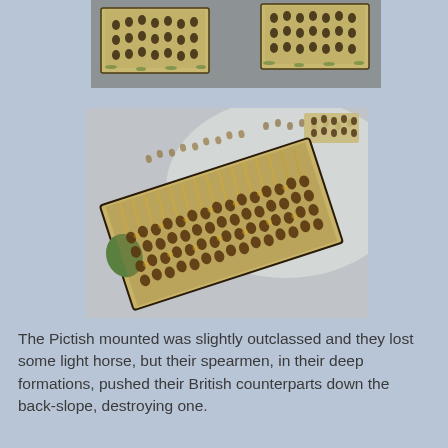[Figure (photo): Top portion of a photo showing miniature wargaming figures on bases, viewed from above, against a grey surface background. Multiple rectangular bases with small painted cavalry/mounted figures are visible.]
[Figure (photo): Close-up photo of a rectangular base of miniature wargaming spearmen figures densely packed together, showing golden-brown painted infantry in a deep formation, photographed at an angle on a grey surface. Additional loose figures visible in the background.]
The Pictish mounted was slightly outclassed and they lost some light horse, but their spearmen, in their deep formations, pushed their British counterparts down the back-slope, destroying one.